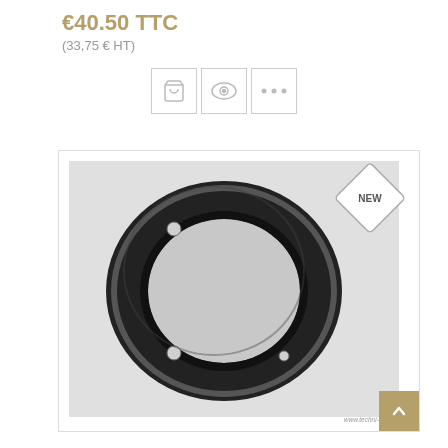€40.50 TTC
(33,75 € HT)
[Figure (other): Action buttons row: shopping cart icon, eye/preview icon, and three-dots/more icon, each in a bordered square button]
[Figure (photo): Product photo of a black rubber ring/gasket with three small holes, displayed on a light grey background. A 'NEW' diamond badge appears in the top right corner. Watermark reads www.techni-tacot.com]